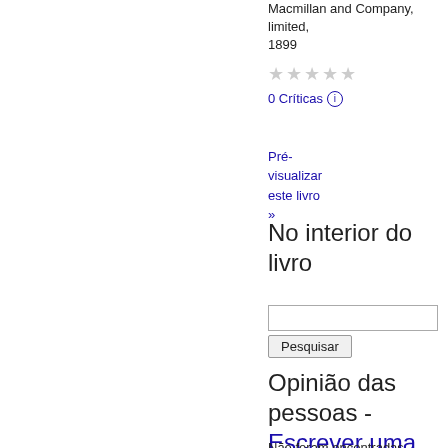Macmillan and Company, limited, 1899
[Figure (other): Star rating display showing 5 empty/grey stars]
0 Críticas ⓘ
Pré-visualizar este livro »
No interior do livro
Pesquisar
Opinião das pessoas - Escrever uma crítica
Não foram encontradas...